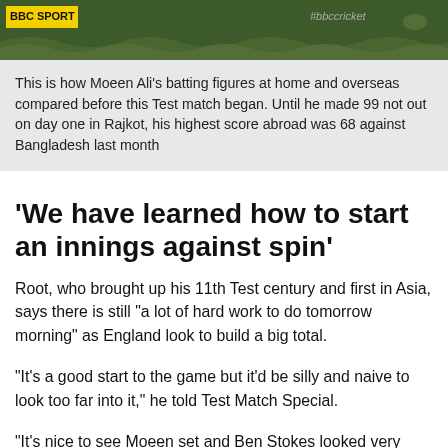[Figure (screenshot): BBC Cricket banner with yellow logo on dark olive/green background and #bbccricket hashtag]
This is how Moeen Ali's batting figures at home and overseas compared before this Test match began. Until he made 99 not out on day one in Rajkot, his highest score abroad was 68 against Bangladesh last month
'We have learned how to start an innings against spin'
Root, who brought up his 11th Test century and first in Asia, says there is still "a lot of hard work to do tomorrow morning" as England look to build a big total.
"It's a good start to the game but it'd be silly and naive to look too far into it," he told Test Match Special.
"It's nice to see Moeen set and Ben Stokes looked very comfortable towards the back end of the evening. If they can get a good partnership together and put some